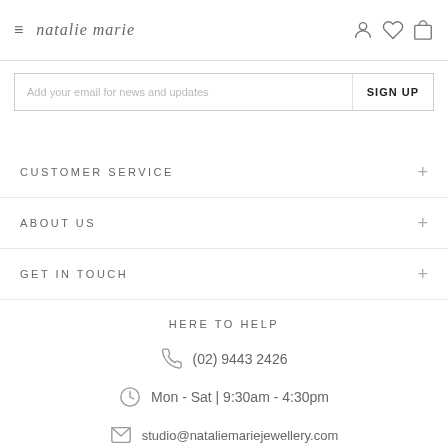natalie marie — header with hamburger menu, logo, and icons
Add your email for news and updates
SIGN UP
CUSTOMER SERVICE
ABOUT US
GET IN TOUCH
HERE TO HELP
(02) 9443 2426
Mon - Sat | 9:30am - 4:30pm
studio@nataliemariejewellery.com